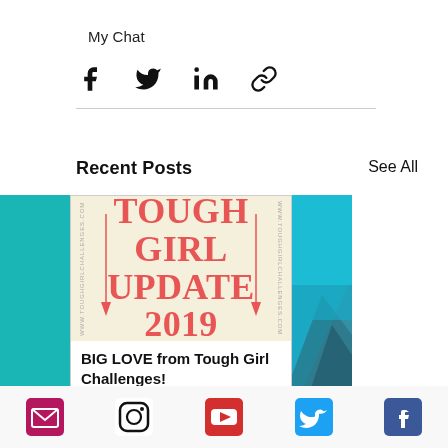My Chat
[Figure (infographic): Social share icons: Facebook, Twitter, LinkedIn, link/copy]
[Figure (infographic): Blog post card showing 'TOUGH GIRL UPDATE 2019' with title 'BIG LOVE from Tough Girl Challenges!' alongside teal and mountain image cards]
Recent Posts
See All
BIG LOVE from Tough Girl Challenges!
Social media icons: email, Instagram, YouTube, Twitter, Facebook